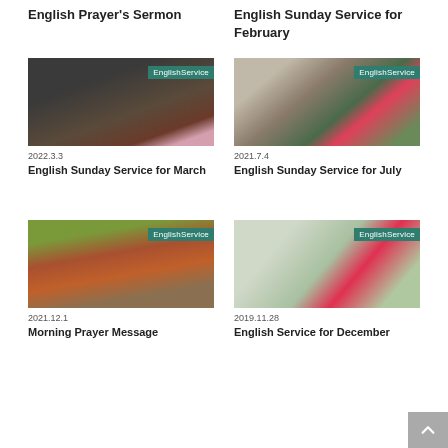English Prayer's Sermon
English Sunday Service for February
[Figure (photo): Plum blossom branches with pink flowers, EnglishService tag]
2022.3.3
English Sunday Service for March
[Figure (photo): Pink camellia flower on bush near wall, EnglishService tag]
2021.7.4
English Sunday Service for July
[Figure (photo): Autumn foliage and traditional building, EnglishService tag]
2021.12.1
Morning Prayer Message
[Figure (photo): Red camellia flower with bokeh background, EnglishService tag]
2019.11.28
English Service for December